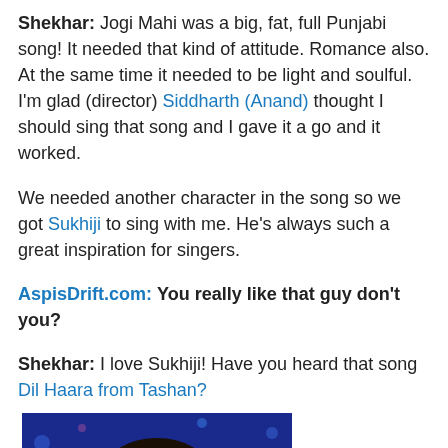Shekhar: Jogi Mahi was a big, fat, full Punjabi song! It needed that kind of attitude. Romance also. At the same time it needed to be light and soulful. I'm glad (director) Siddharth (Anand) thought I should sing that song and I gave it a go and it worked.
We needed another character in the song so we got Sukhiji to sing with me. He's always such a great inspiration for singers.
AspisDrift.com: You really like that guy don't you?
Shekhar: I love Sukhiji! Have you heard that song Dil Haara from Tashan?
[Figure (photo): Close-up photo of a young Indian man with dark hair against a blue bokeh background, looking slightly downward with his hand raised near his face.]